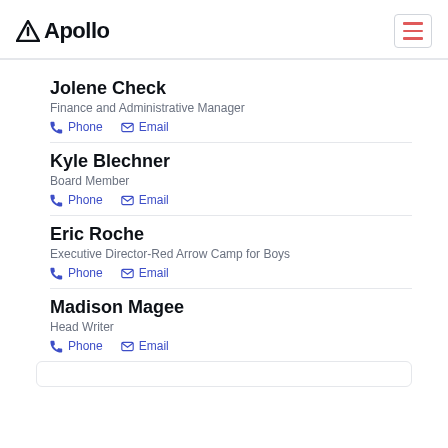Apollo
Jolene Check
Finance and Administrative Manager
Phone | Email
Kyle Blechner
Board Member
Phone | Email
Eric Roche
Executive Director-Red Arrow Camp for Boys
Phone | Email
Madison Magee
Head Writer
Phone | Email